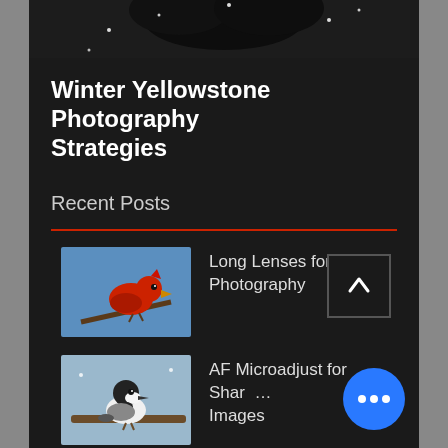[Figure (photo): Top portion of a dark spiky plant or animal in snow, cropped at top of screen]
Winter Yellowstone Photography Strategies
Recent Posts
[Figure (photo): Red cardinal bird perched on a branch against blue sky background]
Long Lenses for Wildlife Photography
[Figure (photo): Small black and white bird (chickadee) perched on a branch in winter]
AF Microadjust for Sharp Images